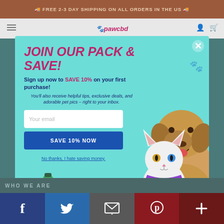FREE 2-3 DAY SHIPPING ON ALL ORDERS IN THE US
[Figure (screenshot): Website navigation bar with hamburger menu and pawcbd logo and icons]
JOIN OUR PACK & SAVE!
Sign up now to SAVE 10% on your first purchase!
You'll also receive helpful tips, exclusive deals, and adorable pet pics – right to your inbox.
Your email
SAVE 10% NOW
No thanks, I hate saving money.
[Figure (photo): White cat and golden labrador dog sitting together]
[Figure (photo): Pawcbd product bundle with bottles and treats]
WHO WE ARE
[Figure (infographic): Social media bar with Facebook, Twitter, Email, Pinterest, and Plus buttons]